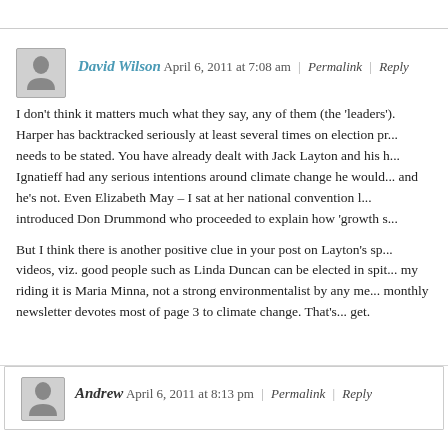David Wilson April 6, 2011 at 7:08 am | Permalink | Reply
I don't think it matters much what they say, any of them (the 'leaders'). Harper has backtracked seriously at least several times on election pr... needs to be stated. You have already dealt with Jack Layton and his h... Ignatieff had any serious intentions around climate change he would... and he's not. Even Elizabeth May – I sat at her national convention l... introduced Don Drummond who proceeded to explain how 'growth s...
But I think there is another positive clue in your post on Layton's sp... videos, viz. good people such as Linda Duncan can be elected in spit... my riding it is Maria Minna, not a strong environmentalist by any me... monthly newsletter devotes most of page 3 to climate change. That's... get.
Andrew April 6, 2011 at 8:13 pm | Permalink | Reply